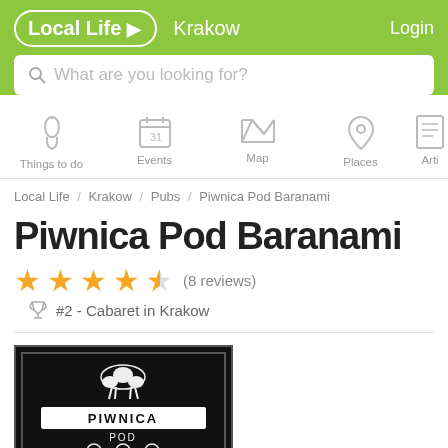Local Life > Krakow | Login
What are you looking for?
Things to do  Events  Map  Places  Arti...
Local Life / Krakow / Pubs / Piwnica Pod Baranami
Piwnica Pod Baranami
★★★★½ (8 reviews)
🏆 #2 - Cabaret in Krakow
[Figure (logo): Black and white logo image of Piwnica Pod Baranami venue showing a ram/sheep figure above the text PIWNICA POD BARANAMI]